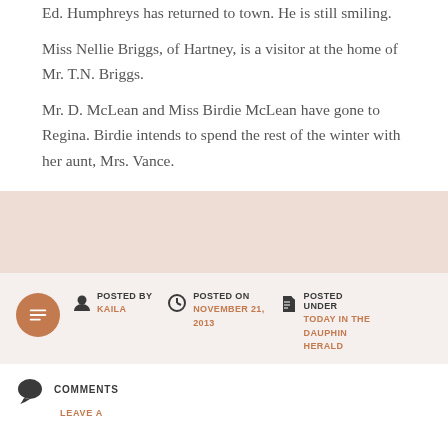Ed. Humphreys has returned to town. He is still smiling.
Miss Nellie Briggs, of Hartney, is a visitor at the home of Mr. T.N. Briggs.
Mr. D. McLean and Miss Birdie McLean have gone to Regina. Birdie intends to spend the rest of the winter with her aunt, Mrs. Vance.
POSTED BY KAILA | POSTED ON NOVEMBER 21, 2013 | POSTED UNDER TODAY IN THE DAUPHIN HERALD
COMMENTS
LEAVE A